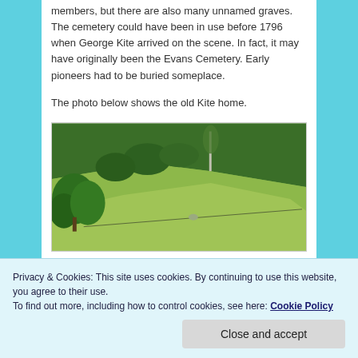members, but there are also many unnamed graves. The cemetery could have been in use before 1796 when George Kite arrived on the scene.  In fact, it may have originally been the Evans Cemetery. Early pioneers had to be buried someplace.
The photo below shows the old Kite home.
[Figure (photo): Landscape photo showing a green hillside with grass and scattered trees. Trees on the left side, open grassy slope to the right. A fence line or wire is visible diagonally across the lower portion of the image.]
Privacy & Cookies: This site uses cookies. By continuing to use this website, you agree to their use.
To find out more, including how to control cookies, see here: Cookie Policy